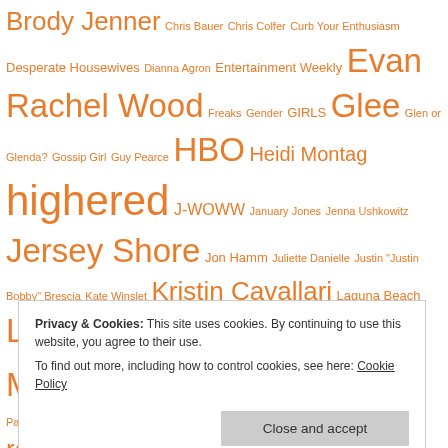Brody Jenner Chris Bauer Chris Colfer Curb Your Enthusiasm Desperate Housewives Dianna Agron Entertainment Weekly Evan Rachel Wood Freaks Gender GIRLS Glee Glen or Glenda? Gossip Girl Guy Pearce HBO Heidi Montag highered J-WOWW January Jones Jenna Ushkowitz Jersey Shore Jon Hamm Juliette Danielle Justin "Justin Bobby" Brescia Kate Winslet Kristin Cavallari Laguna Beach Lauren Conrad Lea Michele Lo Bosworth Mad Men Michelle Forbes MTV Nurse Jackie Olivia Palermo Oscars Paris Hilton Penn Badgley Pink Flamingos race racism reality TV Rutina Wesley Ryan Kwanten Sam Trammell Snooki Spencer Pratt Stephanie Pratt Stephen Moyer Teen Mom The Apocalypse is Nigh The City The Hills The Real World The Rocky Horror Picture Show The Room The Sopranos
Privacy & Cookies: This site uses cookies. By continuing to use this website, you agree to their use.
To find out more, including how to control cookies, see here: Cookie Policy